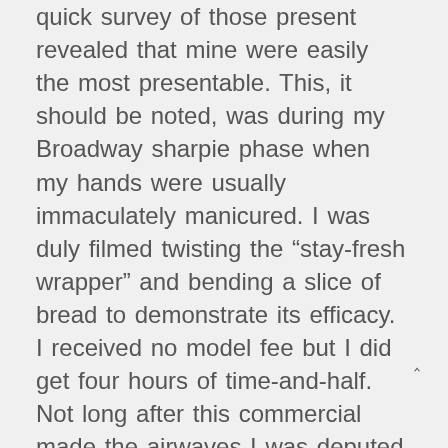quick survey of those present revealed that mine were easily the most presentable.  This, it should be noted, was during my Broadway sharpie phase when my hands were usually immaculately manicured.  I was duly filmed twisting the “stay-fresh wrapper” and bending a slice of bread to demonstrate its efficacy.  I received no model fee but I did get four hours of time-and-half.  Not long after this commercial made the airwaves I was deputed to take an armful of film cans to an editing suite on an upper floor.  Halfway back down the elevator door opened and a party including a noted Italian actress who was doing some dubbing in the building tried to push past me into the